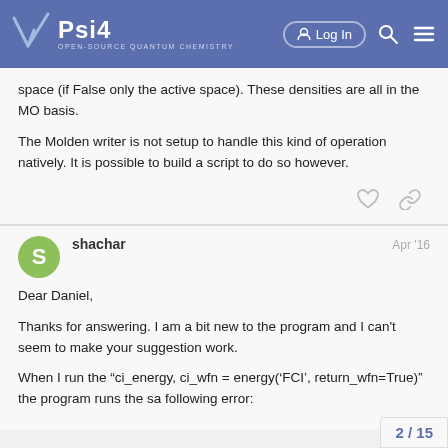Psi4 — Open-Source Quantum Chemistry
space (if False only the active space). These densities are all in the MO basis.
The Molden writer is not setup to handle this kind of operation natively. It is possible to build a script to do so however.
shachar    Apr '16
Dear Daniel,
Thanks for answering. I am a bit new to the program and I can't seem to make your suggestion work.
When I run the "ci_energy, ci_wfn = energy('FCI', return_wfn=True)" the program runs the sa following error:
2 / 15